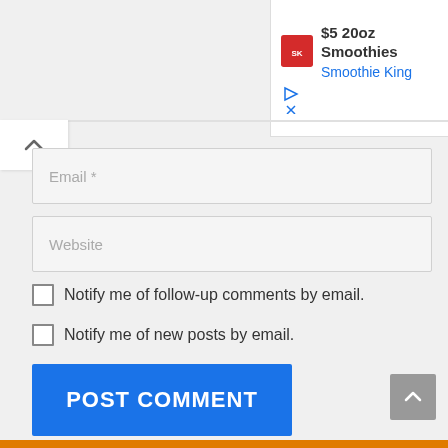[Figure (screenshot): Advertisement banner for Smoothie King showing '$5 20oz Smoothies' with Smoothie King logo and blue subtitle text]
Email *
Website
Notify me of follow-up comments by email.
Notify me of new posts by email.
POST COMMENT